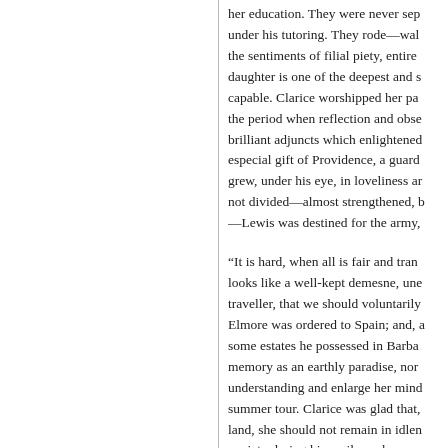her education. They were never separated under his tutoring. They rode—walked— the sentiments of filial piety, entire daughter is one of the deepest and s capable. Clarice worshipped her pa the period when reflection and obse brilliant adjuncts which enlightened especial gift of Providence, a guard grew, under his eye, in loveliness ar not divided—almost strengthened, b —Lewis was destined for the army,
“It is hard, when all is fair and tran looks like a well-kept demesne, une traveller, that we should voluntarily Elmore was ordered to Spain; and, a some estates he possessed in Barba memory as an earthly paradise, nor understanding and enlarge her mind summer tour. Clarice was glad that, land, she should not remain in idlen anxiety during his perilous absence